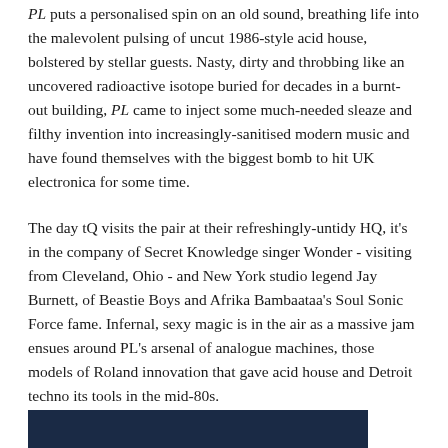PL puts a personalised spin on an old sound, breathing life into the malevolent pulsing of uncut 1986-style acid house, bolstered by stellar guests. Nasty, dirty and throbbing like an uncovered radioactive isotope buried for decades in a burnt-out building, PL came to inject some much-needed sleaze and filthy invention into increasingly-sanitised modern music and have found themselves with the biggest bomb to hit UK electronica for some time.
The day tQ visits the pair at their refreshingly-untidy HQ, it's in the company of Secret Knowledge singer Wonder - visiting from Cleveland, Ohio - and New York studio legend Jay Burnett, of Beastie Boys and Afrika Bambaataa's Soul Sonic Force fame. Infernal, sexy magic is in the air as a massive jam ensues around PL's arsenal of analogue machines, those models of Roland innovation that gave acid house and Detroit techno its tools in the mid-80s.
[Figure (other): Dark navy blue rectangular bar at the bottom of the page, partially visible]